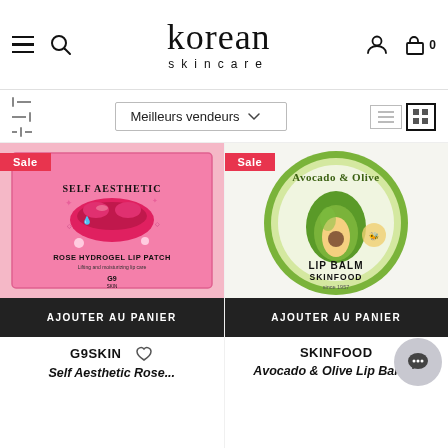korean skincare — navigation header with hamburger menu, search icon, user icon, cart (0)
Meilleurs vendeurs
[Figure (photo): G9 Skin Self Aesthetic Rose Hydrogel Lip Patch product box — pink box with illustrated lips, sparkles and text 'ROSE HYDROGEL LIP PATCH Lifting and moisturizing lip care G9 SKIN'. Sale badge shown.]
[Figure (photo): Skinfood Avocado & Olive Lip Balm product — round tin container with avocado illustration and text 'Avocado & Olive LIP BALM SKINFOOD since 1957'. Sale badge shown.]
AJOUTER AU PANIER
AJOUTER AU PANIER
G9SKIN
SKINFOOD
Self Aesthetic Rose...
Avocado & Olive Lip Balm...